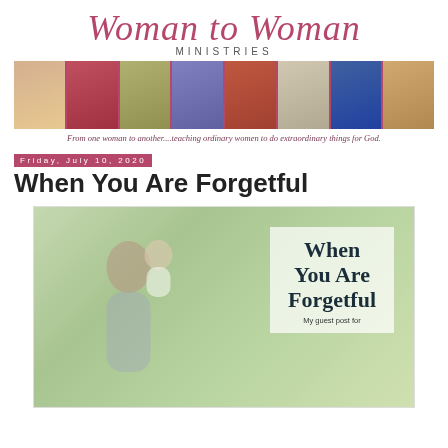[Figure (logo): Woman to Woman Ministries logo with cursive script text and MINISTRIES subtitle]
[Figure (photo): A horizontal strip of 8 portrait photos of women on a mauve/pink background]
From one woman to another....teaching ordinary women to do extraordinary things for God.
Friday, July 10, 2020
When You Are Forgetful
[Figure (photo): Blog post featured image showing a woman holding a baby outdoors with green foliage background, overlaid with semi-transparent white box containing bold text 'When You Are Forgetful' and small text 'My guest post for']